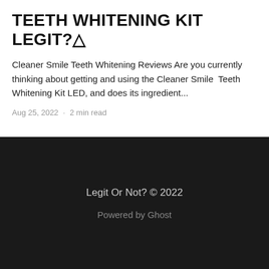TEETH WHITENING KIT LEGIT?⚠
Cleaner Smile Teeth Whitening Reviews Are you currently thinking about getting and using the Cleaner Smile  Teeth Whitening Kit LED, and does its ingredient...
Aug 25, 2022 · 2 min read
Legit Or Not? © 2022
Powered by Ghost